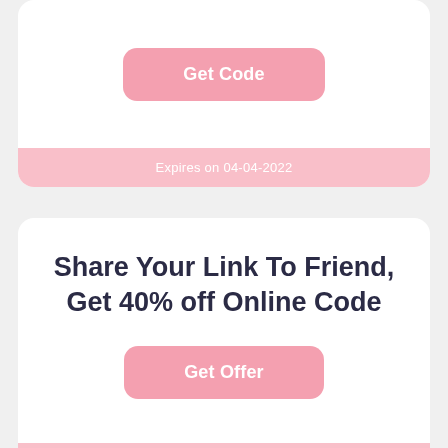[Figure (other): Top coupon card with a pink 'Get Code' button and a pink expiry bar showing 'Expires on 04-04-2022']
Share Your Link To Friend, Get 40% off Online Code
[Figure (other): Pink 'Get Offer' button inside a coupon card]
Expires on 09-04-2022